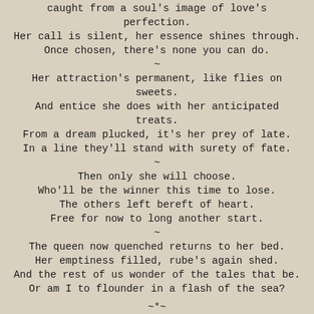caught from a soul's image of love's perfection.
Her call is silent, her essence shines through.
Once chosen, there's none you can do.
~
Her attraction's permanent, like flies on sweets.
And entice she does with her anticipated treats.
From a dream plucked, it's her prey of late.
In a line they'll stand with surety of fate.
~
Then only she will choose.
Who'll be the winner this time to lose.
The others left bereft of heart.
Free for now to long another start.
~
The queen now quenched returns to her bed.
Her emptiness filled, rube's again shed.
And the rest of us wonder of the tales that be.
Or am I to flounder in a flash of the sea?
~*~
SCK102918
*In Brigadoon all roads lead to the future.*